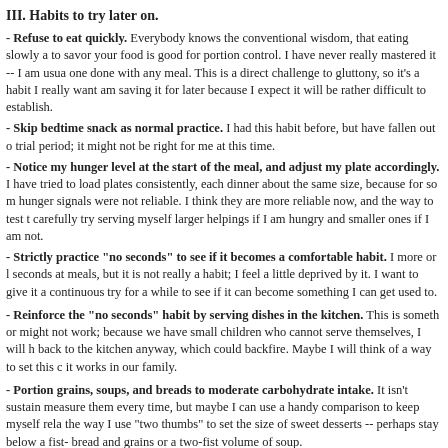III. Habits to try later on.
- Refuse to eat quickly. Everybody knows the conventional wisdom, that eating slowly and to savor your food is good for portion control. I have never really mastered it -- I am usually the first one done with any meal. This is a direct challenge to gluttony, so it's a habit I really want, but I am saving it for later because I expect it will be rather difficult to establish.
- Skip bedtime snack as normal practice. I had this habit before, but have fallen out of it. I'll trial period; it might not be right for me at this time.
- Notice my hunger level at the start of the meal, and adjust my plate accordingly. I have tried to load plates consistently, each dinner about the same size, because for so many hunger signals were not reliable. I think they are more reliable now, and the way to test this is to carefully try serving myself larger helpings if I am hungry and smaller ones if I am not.
- Strictly practice "no seconds" to see if it becomes a comfortable habit. I more or less avoid seconds at meals, but it is not really a habit; I feel a little deprived by it. I want to give it a more continuous try for a while to see if it can become something I can get used to.
- Reinforce the "no seconds" habit by serving dishes in the kitchen. This is something that may or might not work; because we have small children who cannot serve themselves, I will have to go back to the kitchen anyway, which could backfire. Maybe I will think of a way to set this up so that it works in our family.
- Portion grains, soups, and breads to moderate carbohydrate intake. It isn't sustainable to measure them every time, but maybe I can use a handy comparison to keep myself relatively on track the way I use "two thumbs" to set the size of sweet desserts -- perhaps stay below a fist-size of bread and grains or a two-fist volume of soup.
31 December 2011 in Chronological index: Me and my weight loss, Gluttony, Weight loss maintenance, Weight Subtopic Other Writers | Permalink | Comments (2) | TrackBack (0)
30 December 2011
Is it a puppy or is it a turkey roaster?